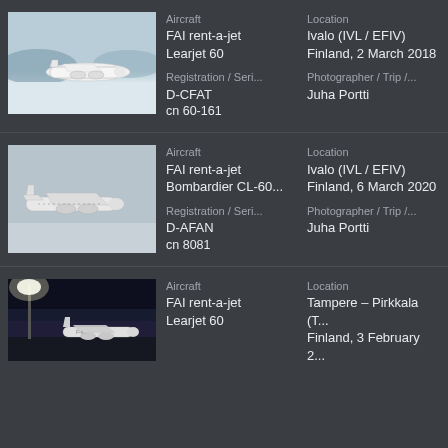[Figure (photo): FAI rent-a-jet Learjet 60 aircraft D-CFAT on snowy tarmac at Ivalo airport]
Aircraft
FAI rent-a-jet
Learjet 60

Registration / Seri...
D-CFAT
cn 60-161

Location
Ivalo (IVL / EFIV)
Finland, 2 March 2018

Photographer / Trip /...
Juha Portti
[Figure (photo): FAI rent-a-jet Bombardier CL-60 aircraft D-AFAN in flight or on ground at Ivalo airport in overcast conditions]
Aircraft
FAI rent-a-jet
Bombardier CL-60...

Registration / Seri...
D-AFAN
cn 8081

Location
Ivalo (IVL / EFIV)
Finland, 6 March 2020

Photographer / Trip /...
Juha Portti
[Figure (photo): FAI rent-a-jet Learjet 60 aircraft at Tampere-Pirkkala airport at night]
Aircraft
FAI rent-a-jet
Learjet 60

Location
Tampere – Pirkkala (T...
Finland, 3 February 2...